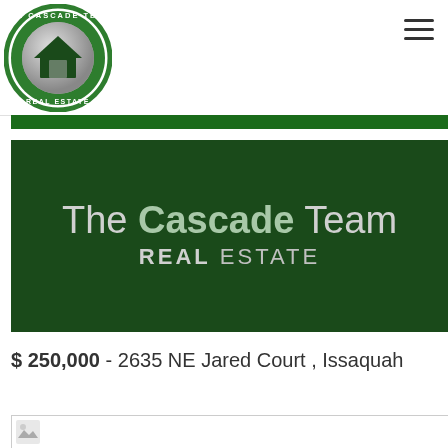[Figure (logo): The Cascade Team Real Estate circular logo with green border, gray metallic house icon, and text around the circle]
[Figure (illustration): Hamburger menu icon (three horizontal lines) in upper right corner]
[Figure (logo): Dark green banner with 'The Cascade Team REAL ESTATE' text in silver and light green]
$ 250,000 - 2635 NE Jared Court , Issaquah
[Figure (photo): Partial image loading indicator at bottom of page]